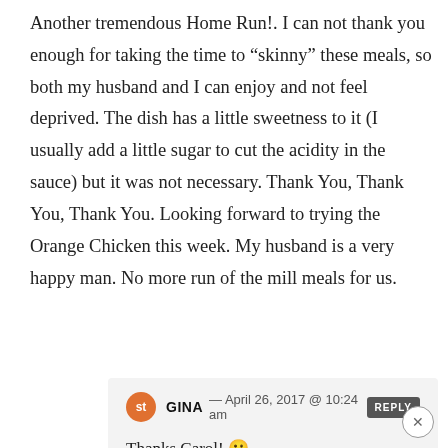Another tremendous Home Run!. I can not thank you enough for taking the time to “skinny” these meals, so both my husband and I can enjoy and not feel deprived. The dish has a little sweetness to it (I usually add a little sugar to cut the acidity in the sauce) but it was not necessary. Thank You, Thank You, Thank You. Looking forward to trying the Orange Chicken this week. My husband is a very happy man. No more run of the mill meals for us.
GINA — April 26, 2017 @ 10:24 am | REPLY
Thanks Carol! 🙂